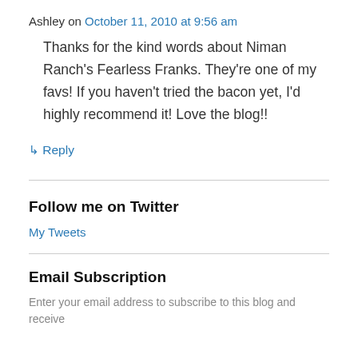Ashley on October 11, 2010 at 9:56 am
Thanks for the kind words about Niman Ranch's Fearless Franks. They're one of my favs! If you haven't tried the bacon yet, I'd highly recommend it! Love the blog!!
↳ Reply
Follow me on Twitter
My Tweets
Email Subscription
Enter your email address to subscribe to this blog and receive